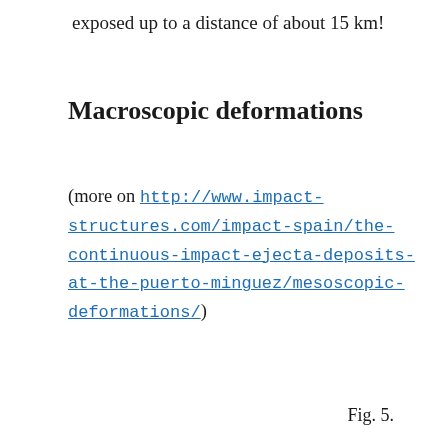exposed up to a distance of about 15 km!
Macroscopic deformations
(more on http://www.impact-structures.com/impact-spain/the-continuous-impact-ejecta-deposits-at-the-puerto-minguez/mesoscopic-deformations/)
Fig. 5.